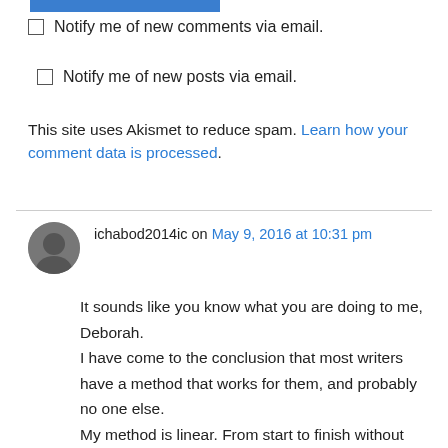Notify me of new comments via email.
Notify me of new posts via email.
This site uses Akismet to reduce spam. Learn how your comment data is processed.
ichabod2014ic on May 9, 2016 at 10:31 pm
It sounds like you know what you are doing to me, Deborah.
I have come to the conclusion that most writers have a method that works for them, and probably no one else.
My method is linear. From start to finish without taking a breath.